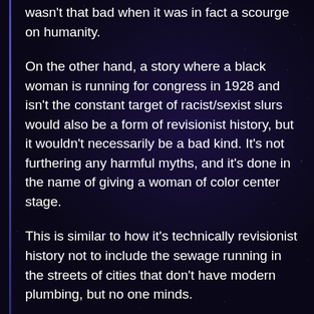wasn't that bad when it was in fact a scourge on humanity.
On the other hand, a story where a black woman is running for congress in 1928 and isn't the constant target of racist/sexist slurs would also be a form of revisionist history, but it wouldn't necessarily be a bad kind. It's not furthering any harmful myths, and it's done in the name of giving a woman of color center stage.
This is similar to how it's technically revisionist history not to include the sewage running in the streets of cities that don't have modern plumbing, but no one minds.